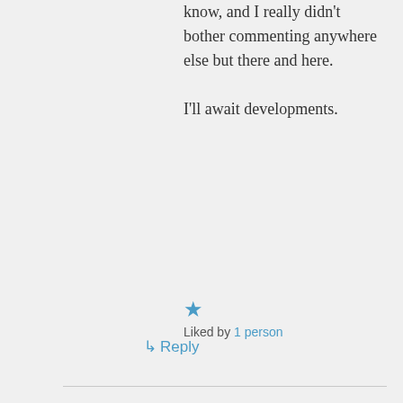know, and I really didn't bother commenting anywhere else but there and here.

I'll await developments.
★ Liked by 1 person
↳ Reply